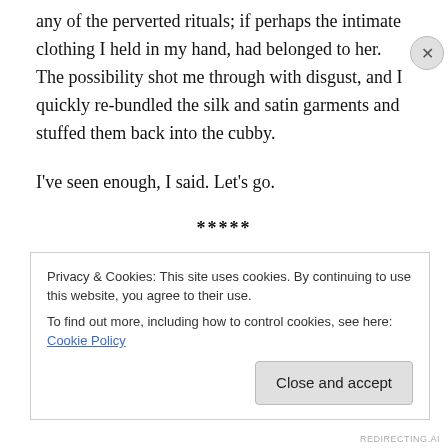any of the perverted rituals; if perhaps the intimate clothing I held in my hand, had belonged to her. The possibility shot me through with disgust, and I quickly re-bundled the silk and satin garments and stuffed them back into the cubby.
I've seen enough, I said. Let's go.
*****
We emerged from that subterranean den of torment into the remains of the day. The sun, visible as a diffuse white
Privacy & Cookies: This site uses cookies. By continuing to use this website, you agree to their use.
To find out more, including how to control cookies, see here: Cookie Policy
Close and accept